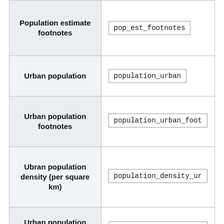| Field Label | Field Name |
| --- | --- |
| Population estimate footnotes | pop_est_footnotes |
| Urban population | population_urban |
| Urban population footnotes | population_urban_foot... |
| Ubran population density (per square km) | population_density_ur... |
| Urban population density (per square | population_density_ur... |